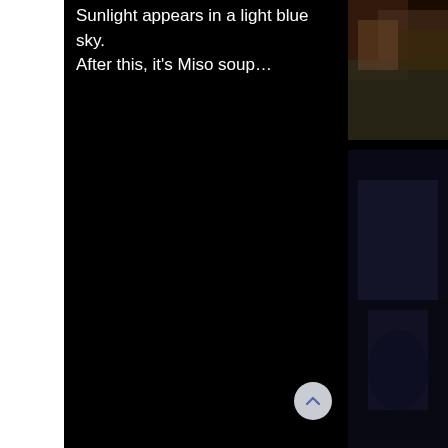Sunlight appears in a light blue sky. After this, it's Miso soup…
[Figure (photo): Partially cropped photo on top right, dark/colorful tones, person or fabric visible]
[Figure (photo): Partially cropped photo on bottom right, dark tones, person in dark clothing visible]